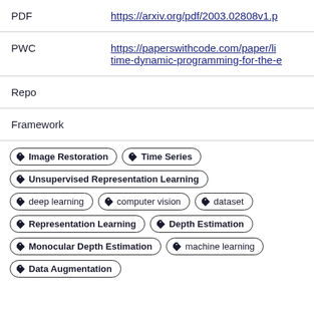|  |  |
| --- | --- |
| PDF | https://arxiv.org/pdf/2003.02808v1.p |
| PWC | https://paperswithcode.com/paper/li
time-dynamic-programming-for-the-e |
| Repo |  |
| Framework |  |
Image Restoration
Time Series
Unsupervised Representation Learning
deep learning
computer vision
dataset
Representation Learning
Depth Estimation
Monocular Depth Estimation
machine learning
Data Augmentation